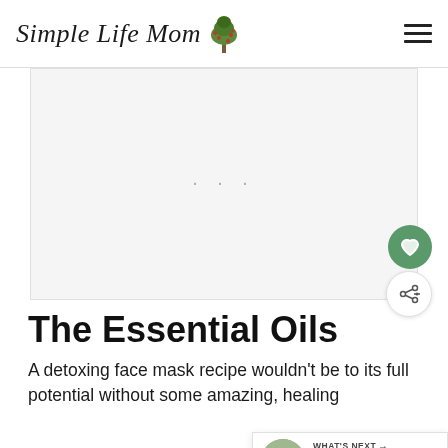Simple Life Mom
[Figure (other): Advertisement placeholder area with three small gray dots centered]
The Essential Oils
A detoxing face mask recipe wouldn't be to its full potential without some amazing, healing